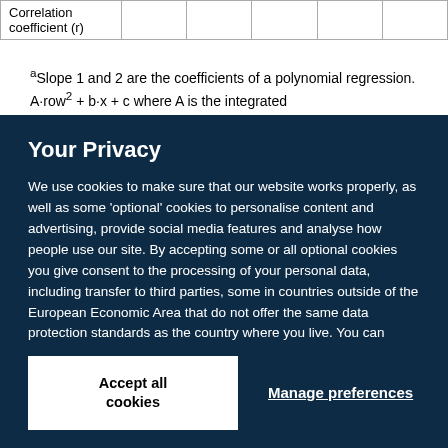| Correlation coefficient (r) |  |  |  |  |  |
| --- | --- | --- | --- | --- | --- |
| Correlation coefficient (r) |  |  |  |  |  |
aSlope 1 and 2 are the coefficients of a polynomial regression. A·row² + b·x + c where A is the integrated...
Your Privacy
We use cookies to make sure that our website works properly, as well as some 'optional' cookies to personalise content and advertising, provide social media features and analyse how people use our site. By accepting some or all optional cookies you give consent to the processing of your personal data, including transfer to third parties, some in countries outside of the European Economic Area that do not offer the same data protection standards as the country where you live. You can decide which optional cookies to accept by clicking on 'Manage Settings', where you can also find more information about how your personal data is processed. Further information can be found in our privacy policy.
Accept all cookies
Manage preferences